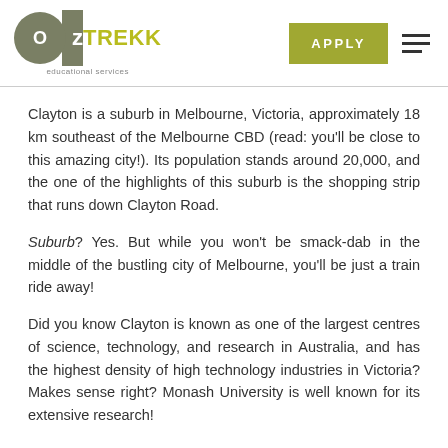OzTREKK educational services | APPLY
Clayton is a suburb in Melbourne, Victoria, approximately 18 km southeast of the Melbourne CBD (read: you'll be close to this amazing city!). Its population stands around 20,000, and the one of the highlights of this suburb is the shopping strip that runs down Clayton Road.
Suburb? Yes. But while you won't be smack-dab in the middle of the bustling city of Melbourne, you'll be just a train ride away!
Did you know Clayton is known as one of the largest centres of science, technology, and research in Australia, and has the highest density of high technology industries in Victoria? Makes sense right? Monash University is well known for its extensive research!